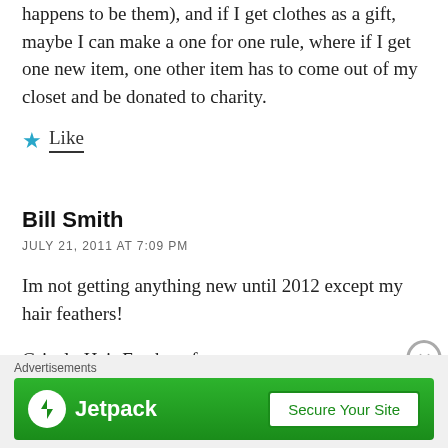happens to be them), and if I get clothes as a gift, maybe I can make a one for one rule, where if I get one new item, one other item has to come out of my closet and be donated to charity.
Like
Bill Smith
JULY 21, 2011 AT 7:09 PM
Im not getting anything new until 2012 except my hair feathers!
Grizzly Hair Feathers from http://www.FeatherAccents.com
[Figure (screenshot): Jetpack advertisement banner with green background, Jetpack logo on left, and 'Secure Your Site' button on right. 'Advertisements' label above.]